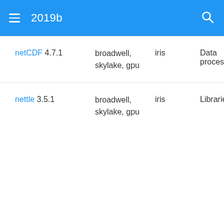2019b
| Name | Architecture | Cluster | Category |
| --- | --- | --- | --- |
| netCDF 4.7.1 | broadwell, skylake, gpu | iris | Data processing |
| nettle 3.5.1 | broadwell, skylake, gpu | iris | Libraries |